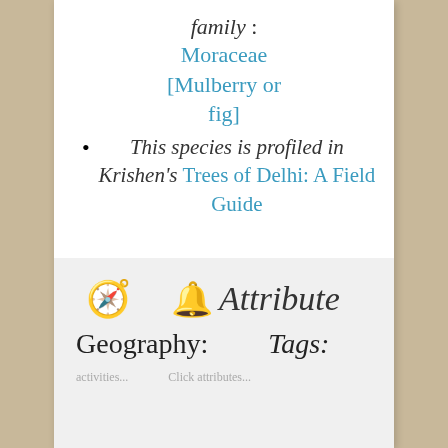family : Moraceae [Mulberry or fig]
This species is profiled in Krishen's Trees of Delhi: A Field Guide
[Figure (other): Compass icon emoji and bell emoji with italic text 'Attribute']
Geography:   Tags: